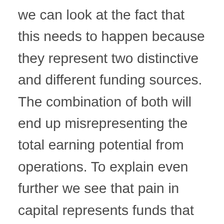we can look at the fact that this needs to happen because they represent two distinctive and different funding sources. The combination of both will end up misrepresenting the total earning potential from operations. To explain even further we see that pain in capital represents funds that are new and are intended to help the company increase their earned capital. Now earned capital looks at a company's profits from their operations. Another way of analyzing